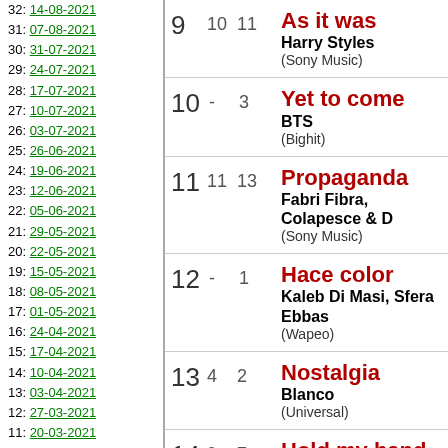32: 14-08-2021
31: 07-08-2021
30: 31-07-2021
29: 24-07-2021
28: 17-07-2021
27: 10-07-2021
26: 03-07-2021
25: 26-06-2021
24: 19-06-2021
23: 12-06-2021
22: 05-06-2021
21: 29-05-2021
20: 22-05-2021
19: 15-05-2021
18: 08-05-2021
17: 01-05-2021
16: 24-04-2021
15: 17-04-2021
14: 10-04-2021
13: 03-04-2021
12: 27-03-2021
11: 20-03-2021
10: 13-03-2021
9: 06-03-2021
8: 27-02-2021
7: 20-02-2021
6: 13-02-2021
5: 06-02-2021
4: 30-01-2021
3: 23-01-2021
2: 16-01-2021
9 10 11 As it was — Harry Styles (Sony Music)
10 - 3 Yet to come — BTS (Bighit)
11 11 13 Propaganda — Fabri Fibra, Colapesce & D (Sony Music)
12 - 1 Hace color — Kaleb Di Masi, Sfera Ebbas (Wapeo)
13 4 2 Nostalgia — Blanco (Universal)
14 9 7 Hold my hand — Lady GaGa (Interscope)
15 13 4 Vieni nel mio cuore